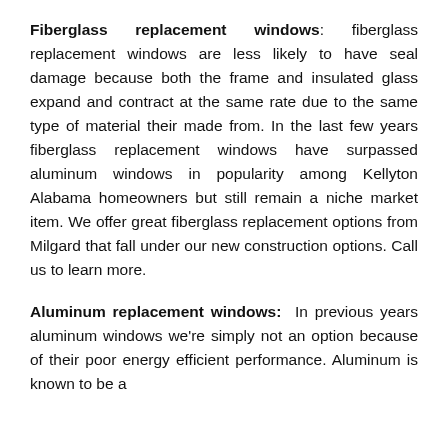Fiberglass replacement windows: fiberglass replacement windows are less likely to have seal damage because both the frame and insulated glass expand and contract at the same rate due to the same type of material their made from. In the last few years fiberglass replacement windows have surpassed aluminum windows in popularity among Kellyton Alabama homeowners but still remain a niche market item. We offer great fiberglass replacement options from Milgard that fall under our new construction options. Call us to learn more.
Aluminum replacement windows: In previous years aluminum windows we're simply not an option because of their poor energy efficient performance. Aluminum is known to be a